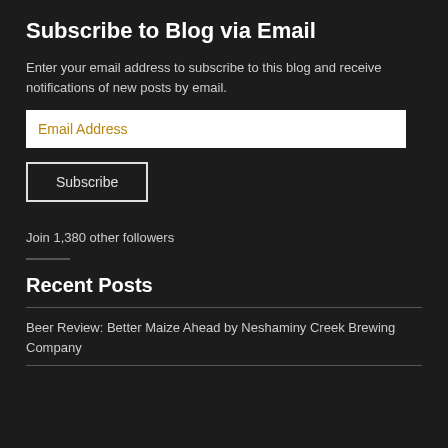Subscribe to Blog via Email
Enter your email address to subscribe to this blog and receive notifications of new posts by email.
Email Address
Subscribe
Join 1,380 other followers
Recent Posts
Beer Review: Better Maize Ahead by Neshaminy Creek Brewing Company